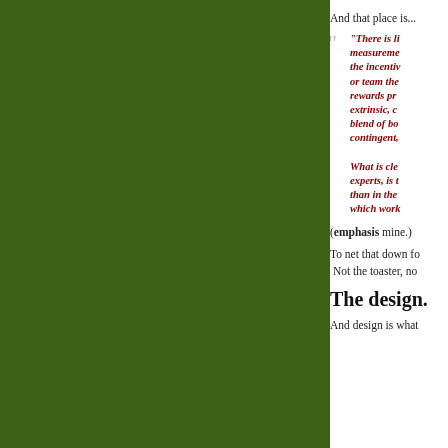[Figure (illustration): Large dark green rectangular panel on the left side of the page]
And that place is...
"There is li... measurement... the incentiv... or team the... rewards pr... extrinsic, c... blend of bo... contingent,... What is cle... experts, is t... than in the ... which work...
(emphasis mine.)
To net that down fo... Not the toaster, no...
The design.
And design is what...